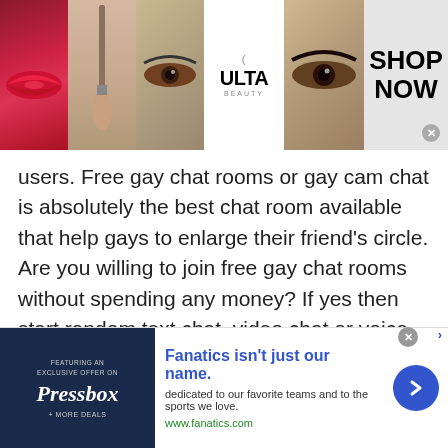[Figure (screenshot): Ulta Beauty advertisement banner at top with makeup photos (lips, brush, eye), Ulta logo, and 'SHOP NOW' text]
users. Free gay chat rooms or gay cam chat is absolutely the best chat room available that help gays to enlarge their friend's circle. Are you willing to join free gay chat rooms without spending any money? If yes then start random text chat, video chat or voice chat to have an exciting online journey. Whether you wish to talk to strangers in Tajikistan, America, Canada, Asia or other country gay users, you have so many options at TWS.
[Figure (screenshot): Fanatics advertisement banner at bottom with Pressbox logo and 'Fanatics isn't just our name.' tagline]